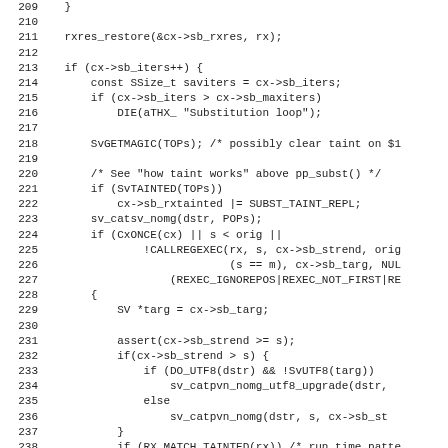[Figure (screenshot): Source code listing in monospace font showing C/Perl code lines 209-241, with line numbers on the left and code on the right. The code involves regex substitution logic including rxres_restore, sb_iters, SvGETMAGIC, SvTAINTED, sv_catsv_nomg, CALLREGEXEC, assert, sv_catpvn_nomg_utf8_upgrade, and RX_MATCH_TAINTED.]